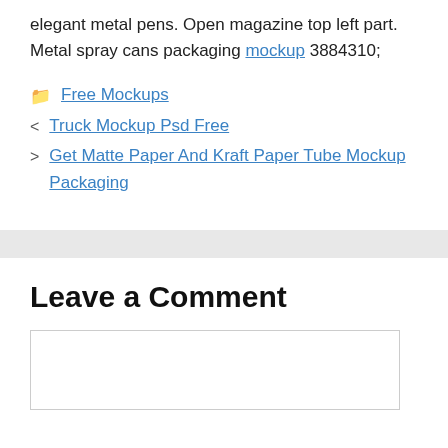elegant metal pens. Open magazine top left part. Metal spray cans packaging mockup 3884310;
Free Mockups
< Truck Mockup Psd Free
> Get Matte Paper And Kraft Paper Tube Mockup Packaging
Leave a Comment